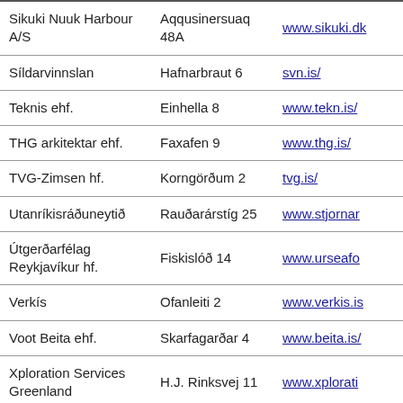| Company | Address | Website |
| --- | --- | --- |
| Sikuki Nuuk Harbour A/S | Aqqusinersuaq 48A | www.sikuki.dk... |
| Síldarvinnslan | Hafnarbraut 6 | svn.is/ |
| Teknis ehf. | Einhella 8 | www.tekn.is/ |
| THG arkitektar ehf. | Faxafen 9 | www.thg.is/ |
| TVG-Zimsen hf. | Korngörðum 2 | tvg.is/ |
| Utanríkisráðuneytið | Rauðarárstíg 25 | www.stjornar... |
| Útgerðarfélag Reykjavíkur hf. | Fiskislóð 14 | www.urseafo... |
| Verkís | Ofanleiti 2 | www.verkis.is... |
| Voot Beita ehf. | Skarfagarðar 4 | www.beita.is/... |
| Xploration Services Greenland | H.J. Rinksvej 11 | www.xplorati... |